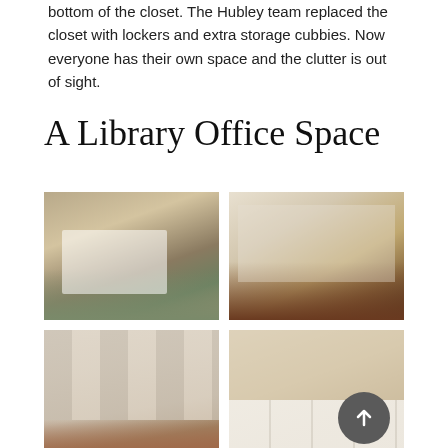bottom of the closet. The Hubley team replaced the closet with lockers and extra storage cubbies. Now everyone has their own space and the clutter is out of sight.
A Library Office Space
[Figure (photo): Interior photo of a playroom/office space with green sofa, white desks, shelving, and fireplace]
[Figure (photo): Interior photo of a formal library office with built-in white shelving, fireplace, wooden desk, and ornate rug]
[Figure (photo): Interior photo of built-in white bookshelves with fireplace and colorful items on shelves, wooden coffee table and rug]
[Figure (photo): Interior photo of white cabinetry and built-ins with framed artwork above, and a circular up-arrow button overlay in bottom right]